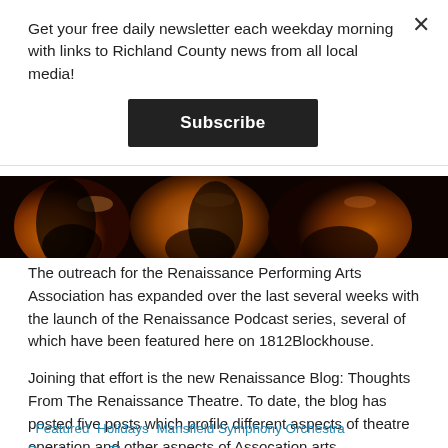Get your free daily newsletter each weekday morning with links to Richland County news from all local media!
Subscribe
[Figure (photo): Close-up photo of violin or string instrument bodies, showing warm amber and orange tones against dark background]
The outreach for the Renaissance Performing Arts Association has expanded over the last several weeks with the launch of the Renaissance Podcast series, several of which have been featured here on 1812Blockhouse.
Joining that effort is the new Renaissance Blog: Thoughts From The Renaissance Theatre. To date, the blog has posted five posts which profile different aspects of theatre operation and other aspects of Assocation arts programming. More...
Featured  Holidays  Mansfield Symphony Orchestra  Renaissance Theatre